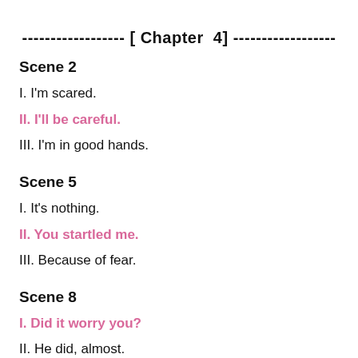------------------ [ Chapter  4] ------------------
Scene 2
I. I'm scared.
II. I'll be careful.
III. I'm in good hands.
Scene 5
I. It's nothing.
II. You startled me.
III. Because of fear.
Scene 8
I. Did it worry you?
II. He did, almost.
III. He scared me.